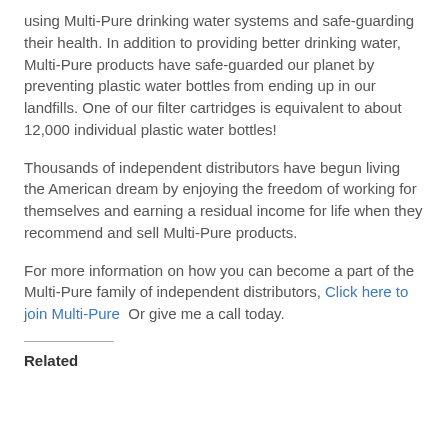using Multi-Pure drinking water systems and safe-guarding their health. In addition to providing better drinking water, Multi-Pure products have safe-guarded our planet by preventing plastic water bottles from ending up in our landfills. One of our filter cartridges is equivalent to about 12,000 individual plastic water bottles!
Thousands of independent distributors have begun living the American dream by enjoying the freedom of working for themselves and earning a residual income for life when they recommend and sell Multi-Pure products.
For more information on how you can become a part of the Multi-Pure family of independent distributors, Click here to join Multi-Pure  Or give me a call today.
Related